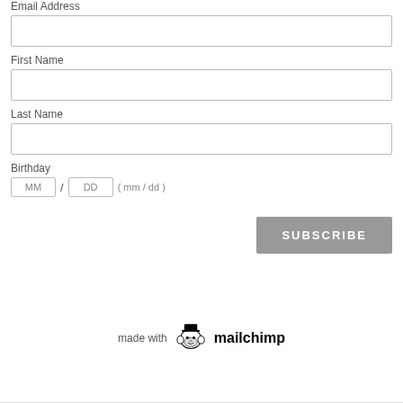Email Address
First Name
Last Name
Birthday
MM / DD  ( mm / dd )
SUBSCRIBE
[Figure (logo): Mailchimp logo with monkey mascot icon and 'mailchimp' text, preceded by 'made with']